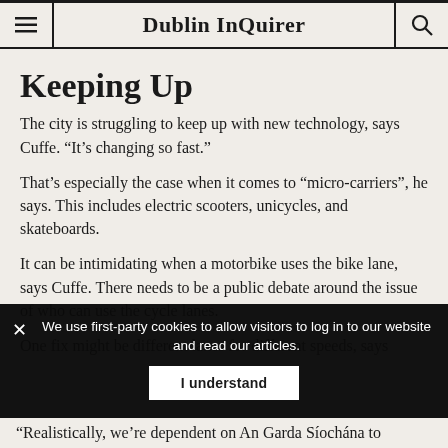Dublin InQuirer
Keeping Up
The city is struggling to keep up with new technology, says Cuffe. “It’s changing so fast.”
That’s especially the case when it comes to “micro-carriers”, he says. This includes electric scooters, unicycles, and skateboards.
It can be intimidating when a motorbike uses the bike lane, says Cuffe. There needs to be a public debate around the issue of who can use the cycle lanes.
One fix might be different lanes for different speeds, says
We use first-party cookies to allow visitors to log in to our website and read our articles.
“Realistically, we’re dependent on An Garda Síochána to